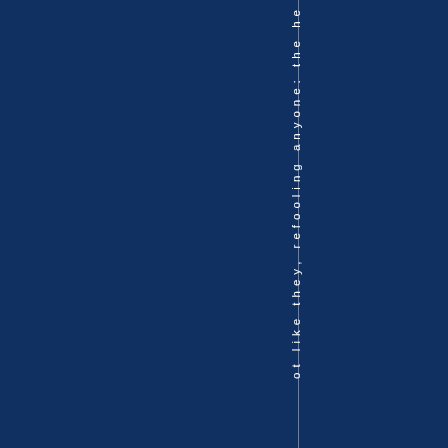ot like they, refooling anyone: the he